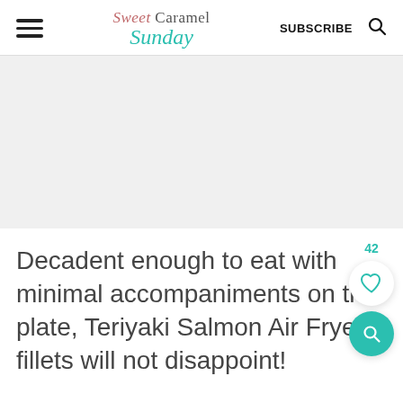Sweet Caramel Sunday | SUBSCRIBE
[Figure (other): Gray placeholder image area]
Decadent enough to eat with minimal accompaniments on the plate, Teriyaki Salmon Air Fryer fillets will not disappoint!